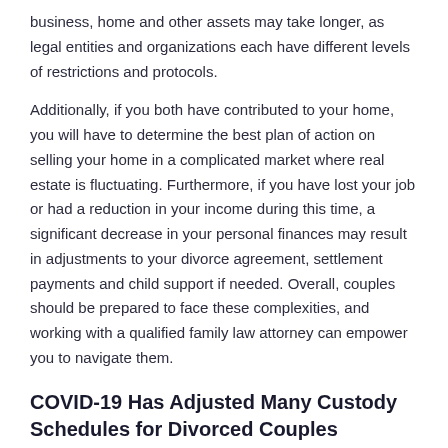business, home and other assets may take longer, as legal entities and organizations each have different levels of restrictions and protocols.
Additionally, if you both have contributed to your home, you will have to determine the best plan of action on selling your home in a complicated market where real estate is fluctuating. Furthermore, if you have lost your job or had a reduction in your income during this time, a significant decrease in your personal finances may result in adjustments to your divorce agreement, settlement payments and child support if needed. Overall, couples should be prepared to face these complexities, and working with a qualified family law attorney can empower you to navigate them.
COVID-19 Has Adjusted Many Custody Schedules for Divorced Couples
The finances are not the only aspect of family law impacted by the pandemic. While court ordered custody schedules must still